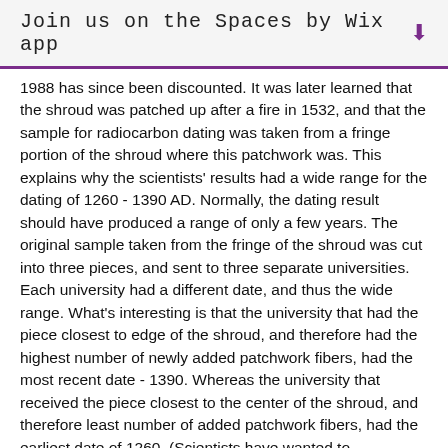Join us on the Spaces by Wix app ↓
1988 has since been discounted. It was later learned that the shroud was patched up after a fire in 1532, and that the sample for radiocarbon dating was taken from a fringe portion of the shroud where this patchwork was. This explains why the scientists' results had a wide range for the dating of 1260 - 1390 AD. Normally, the dating result should have produced a range of only a few years. The original sample taken from the fringe of the shroud was cut into three pieces, and sent to three separate universities. Each university had a different date, and thus the wide range. What's interesting is that the university that had the piece closest to edge of the shroud, and therefore had the highest number of newly added patchwork fibers, had the most recent date - 1390. Whereas the university that received the piece closest to the center of the shroud, and therefore least number of added patchwork fibers, had the earliest date of 1260. (Scientists have wanted to